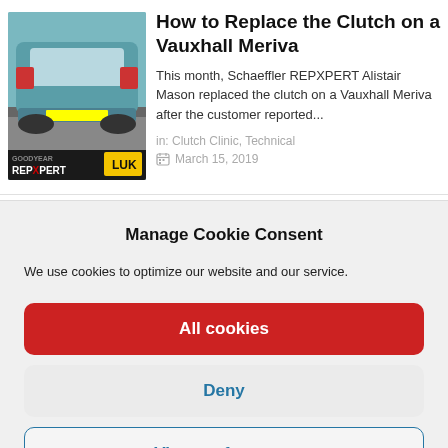[Figure (photo): Photo of a teal/green Vauxhall Meriva car viewed from the rear in a garage, with REPXPERT and LUK logos overlaid at the bottom.]
How to Replace the Clutch on a Vauxhall Meriva
This month, Schaeffler REPXPERT Alistair Mason replaced the clutch on a Vauxhall Meriva after the customer reported...
in: Clutch Clinic, Technical
March 15, 2019
Manage Cookie Consent
We use cookies to optimize our website and our service.
All cookies
Deny
View preferences